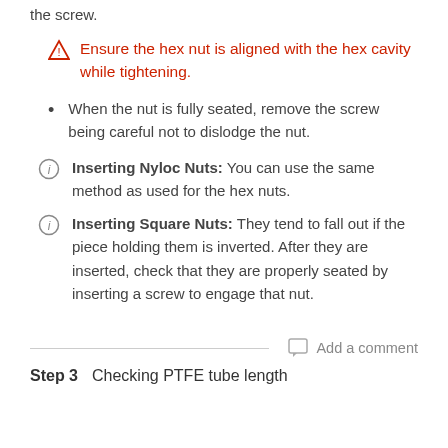the screw.
Ensure the hex nut is aligned with the hex cavity while tightening.
When the nut is fully seated, remove the screw being careful not to dislodge the nut.
Inserting Nyloc Nuts: You can use the same method as used for the hex nuts.
Inserting Square Nuts: They tend to fall out if the piece holding them is inverted. After they are inserted, check that they are properly seated by inserting a screw to engage that nut.
Add a comment
Step 3    Checking PTFE tube length